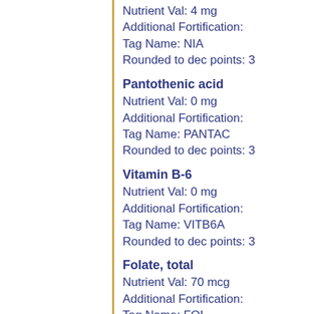Nutrient Val: 4 mg
Additional Fortification:
Tag Name: NIA
Rounded to dec points: 3
Pantothenic acid
Nutrient Val: 0 mg
Additional Fortification:
Tag Name: PANTAC
Rounded to dec points: 3
Vitamin B-6
Nutrient Val: 0 mg
Additional Fortification:
Tag Name: VITB6A
Rounded to dec points: 3
Folate, total
Nutrient Val: 70 mcg
Additional Fortification:
Tag Name: FOL
Rounded to dec points: 0
Folic acid
Nutrient Val: 0 mcg